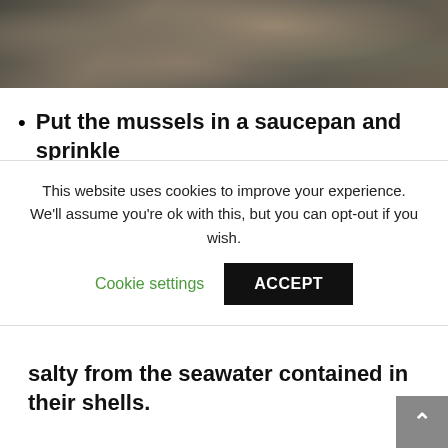[Figure (photo): Close-up photo of raw mussels with dark shells showing blue-grey iridescent coloring]
Put the mussels in a saucepan and sprinkle salty from the seawater contained in their shells.
This website uses cookies to improve your experience. We'll assume you're ok with this, but you can opt-out if you wish. Cookie settings  ACCEPT
[Figure (photo): Photo of mussels cooking in a saucepan with water/liquid, showing dark shells and shimmering liquid]